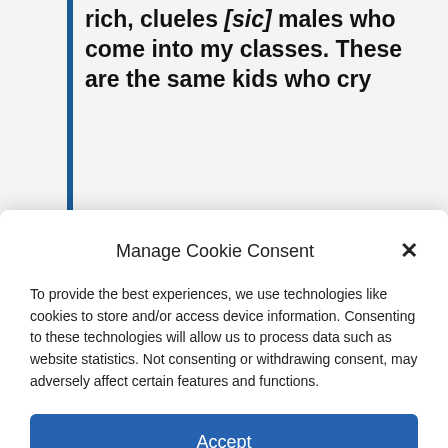rich, clueles [sic] males who come into my classes. These are the same kids who cry
Manage Cookie Consent
To provide the best experiences, we use technologies like cookies to store and/or access device information. Consenting to these technologies will allow us to process data such as website statistics. Not consenting or withdrawing consent, may adversely affect certain features and functions.
Accept
Cookie Policy   Privacy Policy
Rottv don removed the comments on at